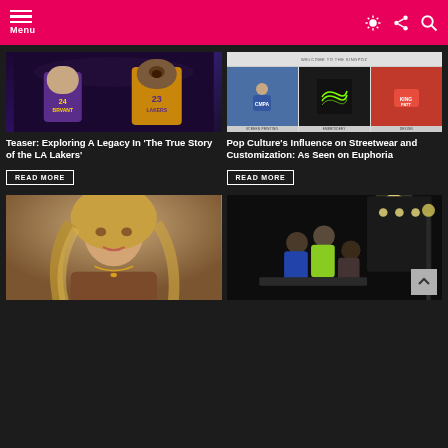Menu
[Figure (photo): Two LA Lakers basketball players, #24 and #23, in gold/purple uniforms]
Teaser: Exploring A Legacy In 'The True Story of the LA Lakers'
READ MORE
[Figure (photo): Streetwear customization shop promotional image showing screen printing, embroidery, and design services]
Pop Culture's Influence on Streetwear and Customization: As Seen on Euphoria
READ MORE
[Figure (photo): Woman with long blonde wavy hair wearing brown leather jacket]
[Figure (photo): People in a studio setting with lighting equipment]